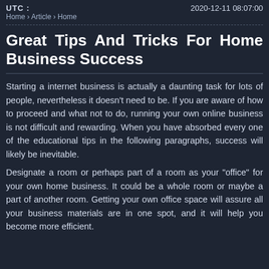UTC :    2020-12-11 08:07:00
Home › Article › Home
Great Tips And Tricks For Home Business Success
Starting a internet business is actually a daunting task for lots of people, nevertheless it doesn't need to be. If you are aware of how to proceed and what not to do, running your own online business is not difficult and rewarding. When you have absorbed every one of the educational tips in the following paragraphs, success will likely be inevitable.
Designate a room or perhaps part of a room as your "office" for your own home business. It could be a whole room or maybe a part of another room. Getting your own office space will assure all your business materials are in one spot, and it will help you become more efficient.